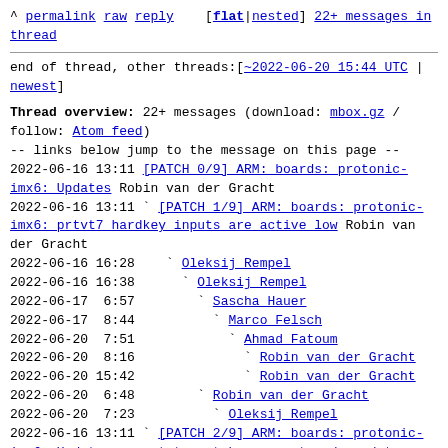^ permalink raw reply  [flat|nested] 22+ messages in thread
end of thread, other threads:[~2022-06-20 15:44 UTC | newest]
Thread overview: 22+ messages (download: mbox.gz / follow: Atom feed)
-- links below jump to the message on this page --
2022-06-16 13:11 [PATCH 0/9] ARM: boards: protonic-imx6: Updates Robin van der Gracht
2022-06-16 13:11 ` [PATCH 1/9] ARM: boards: protonic-imx6: prtvt7 hardkey inputs are active low Robin van der Gracht
2022-06-16 16:28   ` Oleksij Rempel
2022-06-16 16:38     ` Oleksij Rempel
2022-06-17  6:57       ` Sascha Hauer
2022-06-17  8:44         ` Marco Felsch
2022-06-20  7:51           ` Ahmad Fatoum
2022-06-20  8:16             ` Robin van der Gracht
2022-06-20 15:42             ` Robin van der Gracht
2022-06-20  6:48       ` Robin van der Gracht
2022-06-20  7:23         ` Oleksij Rempel
2022-06-16 13:11 ` [PATCH 2/9] ARM: boards: protonic-imx6: Update comment to match a recent code update Robin van der Gracht
2022-06-17  7:00   ` Sascha Hauer
2022-06-20  6:40   ` Robin van der Gracht
2022-06-16 13:11 ` [PATCH 3/9] ARM: boards: protonic-